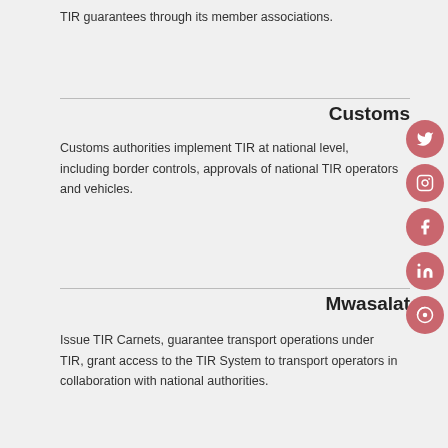TIR guarantees through its member associations.
Customs
Customs authorities implement TIR at national level, including border controls, approvals of national TIR operators and vehicles.
Mwasalat
Issue TIR Carnets, guarantee transport operations under TIR, grant access to the TIR System to transport operators in collaboration with national authorities.